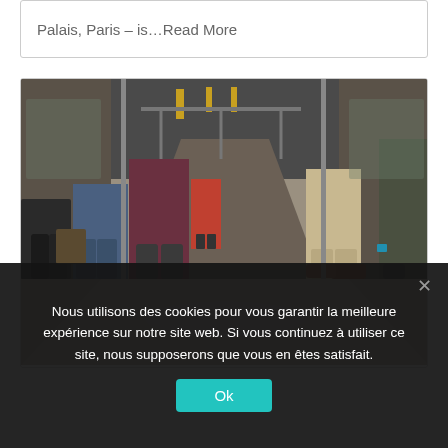Palais, Paris – is…Read More
[Figure (photo): Interior of a crowded subway/metro train viewed from a low angle, showing passengers standing with legs and feet visible, the aisle stretching into the background with light fixtures overhead.]
Nous utilisons des cookies pour vous garantir la meilleure expérience sur notre site web. Si vous continuez à utiliser ce site, nous supposerons que vous en êtes satisfait.
Ok